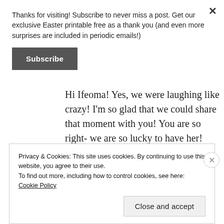Thanks for visiting! Subscribe to never miss a post. Get our exclusive Easter printable free as a thank you (and even more surprises are included in periodic emails!)
Subscribe
Hi Ifeoma! Yes, we were laughing like crazy! I'm so glad that we could share that moment with you! You are so right- we are so lucky to have her! There are no words to adequately
Privacy & Cookies: This site uses cookies. By continuing to use this website, you agree to their use. To find out more, including how to control cookies, see here: Cookie Policy
Close and accept